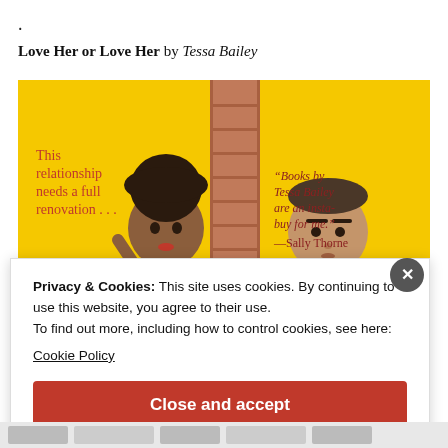.
Love Her or Love Her by Tessa Bailey
[Figure (illustration): Book cover for 'Love Her or Love Her' by Tessa Bailey. Yellow background with illustrated figures of a Black woman with natural hair on the left and a man on the right, separated by a brick column. Left side text in red: 'This relationship needs a full renovation...' Right side text in dark red: '"Books by Tessa Bailey are an insta-buy for me." —Sally Thorne']
Privacy & Cookies: This site uses cookies. By continuing to use this website, you agree to their use.
To find out more, including how to control cookies, see here:
Cookie Policy
Close and accept